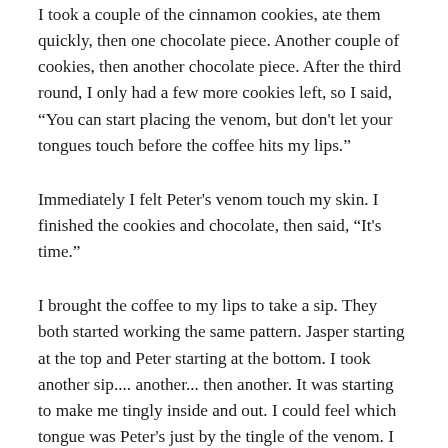I took a couple of the cinnamon cookies, ate them quickly, then one chocolate piece. Another couple of cookies, then another chocolate piece. After the third round, I only had a few more cookies left, so I said, “You can start placing the venom, but don't let your tongues touch before the coffee hits my lips.”
Immediately I felt Peter's venom touch my skin. I finished the cookies and chocolate, then said, “It's time.”
I brought the coffee to my lips to take a sip. They both started working the same pattern. Jasper starting at the top and Peter starting at the bottom. I took another sip.... another... then another. It was starting to make me tingly inside and out. I could feel which tongue was Peter's just by the tingle of the venom. I kept taking sips of the coffee, feeling better and better by the minute. I had the urge to lay my head down for a minute, so I said, “Don't stop. I'm still following instincts.”